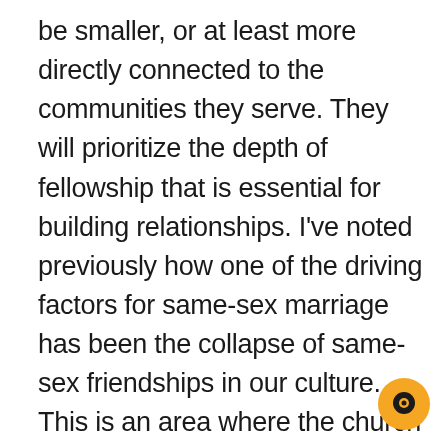be smaller, or at least more directly connected to the communities they serve. They will prioritize the depth of fellowship that is essential for building relationships. I've noted previously how one of the driving factors for same-sex marriage has been the collapse of same-sex friendships in our culture. This is an area where the church must provide wonderful resources and connective opportunities. When Acts 2:42 describes the early church's devotion “to the apostles’ teaching and to fellowship, to the breaking of bread and to prayer,” they were not referring to “services rendered” but to the lifeblood of the church that was formed around fellowship, eating together, and sharing life with one another as a microcosm of new